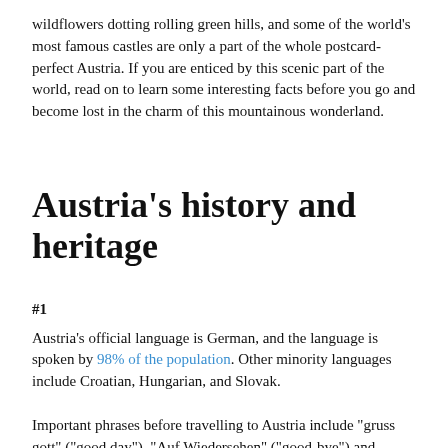wildflowers dotting rolling green hills, and some of the world's most famous castles are only a part of the whole postcard-perfect Austria. If you are enticed by this scenic part of the world, read on to learn some interesting facts before you go and become lost in the charm of this mountainous wonderland.
Austria's history and heritage
#1
Austria's official language is German, and the language is spoken by 98% of the population. Other minority languages include Croatian, Hungarian, and Slovak.
Important phrases before travelling to Austria include "gruss gott" ("good day"), "Auf Wiedersehen" ("good-bye") and "danke" ("thank you").